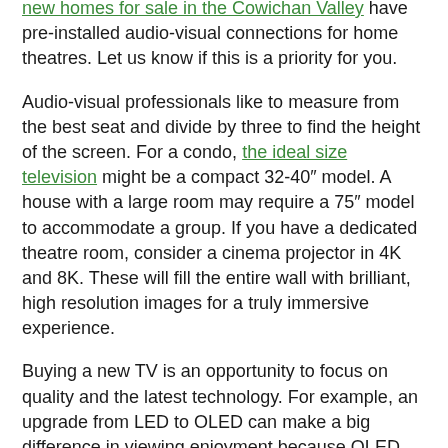new homes for sale in the Cowichan Valley have pre-installed audio-visual connections for home theatres. Let us know if this is a priority for you.
Audio-visual professionals like to measure from the best seat and divide by three to find the height of the screen. For a condo, the ideal size television might be a compact 32-40" model. A house with a large room may require a 75" model to accommodate a group. If you have a dedicated theatre room, consider a cinema projector in 4K and 8K. These will fill the entire wall with brilliant, high resolution images for a truly immersive experience.
Buying a new TV is an opportunity to focus on quality and the latest technology. For example, an upgrade from LED to OLED can make a big difference in viewing enjoyment because OLED allows individual pixels to be on or off without the need for a backlight. This results in a picture that has high dynamic range (HDR) between white and black pixels.